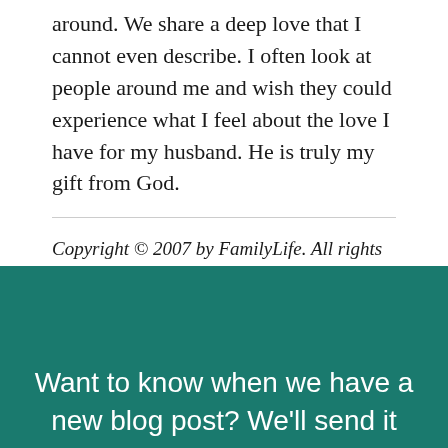around. We share a deep love that I cannot even describe. I often look at people around me and wish they could experience what I feel about the love I have for my husband. He is truly my gift from God.
Copyright © 2007 by FamilyLife. All rights reserved
Want to know when we have a new blog post? We'll send it